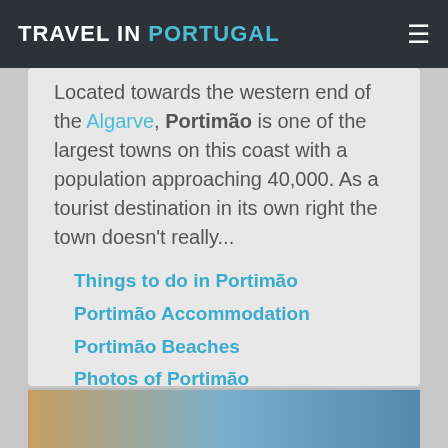TRAVEL IN PORTUGAL
Located towards the western end of the Algarve, Portimão is one of the largest towns on this coast with a population approaching 40,000. As a tourist destination in its own right the town doesn't really...
Things to do in Portimão
Portimão Accommodation
Portimão Beaches
Photos of Portimão
Portimão weather
[Figure (photo): Partial image strip visible at the bottom of the page, showing a coastal/beach scene]